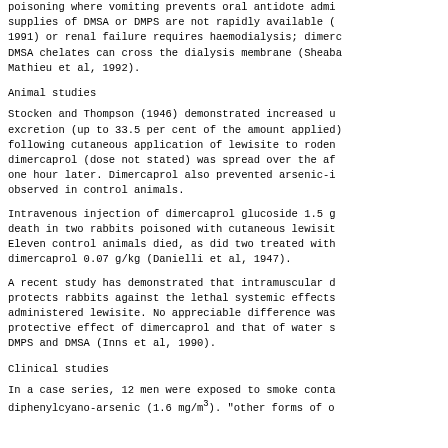poisoning where vomiting prevents oral antidote admi... supplies of DMSA or DMPS are not rapidly available (... 1991) or renal failure requires haemodialysis; dimerc... DMSA chelates can cross the dialysis membrane (Sheaba... Mathieu et al, 1992).
Animal studies
Stocken and Thompson (1946) demonstrated increased u... excretion (up to 33.5 per cent of the amount applied)... following cutaneous application of lewisite to roden... dimercaprol (dose not stated) was spread over the af... one hour later. Dimercaprol also prevented arsenic-i... observed in control animals.
Intravenous injection of dimercaprol glucoside 1.5 g... death in two rabbits poisoned with cutaneous lewisit... Eleven control animals died, as did two treated with dimercaprol 0.07 g/kg (Danielli et al, 1947).
A recent study has demonstrated that intramuscular d... protects rabbits against the lethal systemic effects... administered lewisite. No appreciable difference was... protective effect of dimercaprol and that of water s... DMPS and DMSA (Inns et al, 1990).
Clinical studies
In a case series, 12 men were exposed to smoke conta... diphenylcyano-arsenic (1.6 mg/m3). "other forms of o...